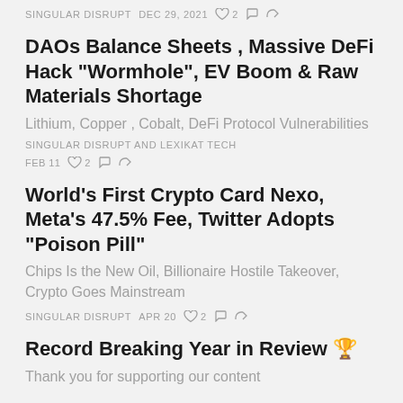SINGULAR DISRUPT  DEC 29, 2021  ♡ 2
DAOs Balance Sheets , Massive DeFi Hack "Wormhole", EV Boom & Raw Materials Shortage
Lithium, Copper , Cobalt, DeFi Protocol Vulnerabilities
SINGULAR DISRUPT AND LEXIKAT TECH
FEB 11  ♡ 2
World's First Crypto Card Nexo, Meta's 47.5% Fee, Twitter Adopts "Poison Pill"
Chips Is the New Oil, Billionaire Hostile Takeover, Crypto Goes Mainstream
SINGULAR DISRUPT  APR 20  ♡ 2
Record Breaking Year in Review 🏆
Thank you for supporting our content